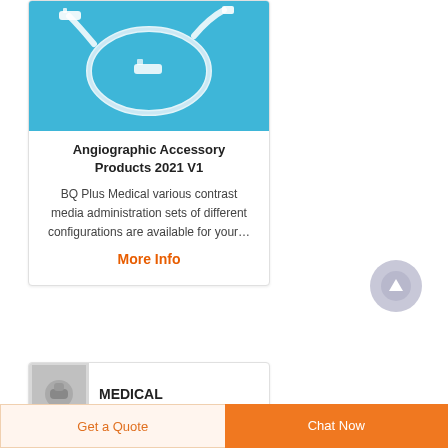[Figure (photo): Medical tubing / contrast media administration set on blue background]
Angiographic Accessory Products 2021 V1
BQ Plus Medical various contrast media administration sets of different configurations are available for your…
More Info
[Figure (photo): Small thumbnail of a medical connector/fitting component]
MEDICAL
Get a Quote
Chat Now